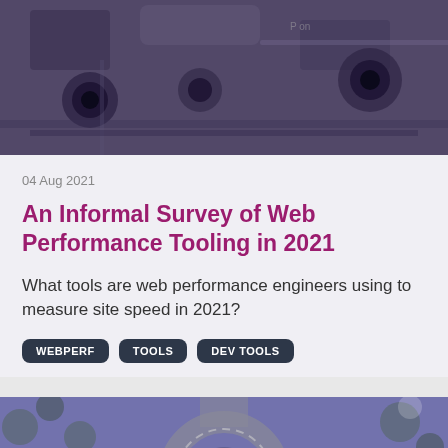[Figure (photo): Black and white overhead/angled photograph of film or photography equipment on a surface, tinted purple]
04 Aug 2021
An Informal Survey of Web Performance Tooling in 2021
What tools are web performance engineers using to measure site speed in 2021?
WEBPERF
TOOLS
DEV TOOLS
[Figure (photo): Aerial/drone photograph of a roundabout road intersection with trees, tinted purple]